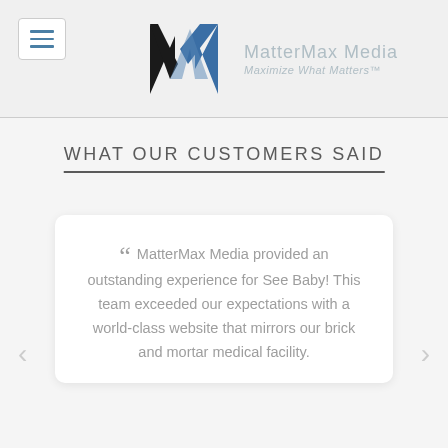MatterMax Media — Maximize What Matters™
WHAT OUR CUSTOMERS SAID
" MatterMax Media provided an outstanding experience for See Baby! This team exceeded our expectations with a world-class website that mirrors our brick and mortar medical facility.